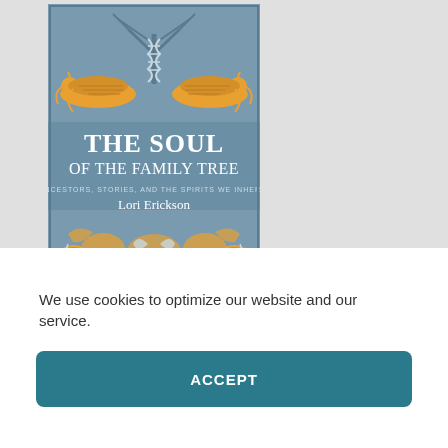[Figure (illustration): Book cover of 'The Soul of the Family Tree: Ancestors, Stories, and the Spirits We Inherit' by Lori Erickson. Blue and gray cover with decorative folk-art style ornamental designs featuring golden birds and floral patterns, with a tree motif.]
FOLLOW LORI ON SOCIAL MEDIA
[Figure (logo): Facebook logo icon — white 'f' on blue square background]
[Figure (logo): Twitter logo icon — white bird on light blue square background]
We use cookies to optimize our website and our service.
ACCEPT